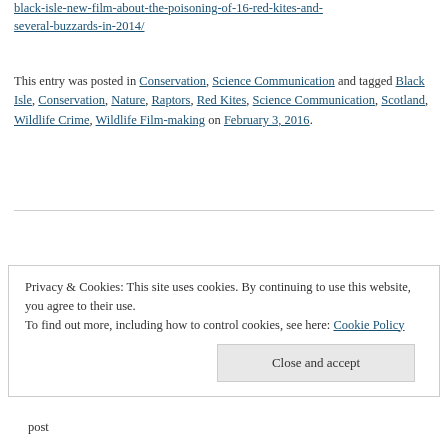black-isle-new-film-about-the-poisoning-of-16-red-kites-and-several-buzzards-in-2014/
This entry was posted in Conservation, Science Communication and tagged Black Isle, Conservation, Nature, Raptors, Red Kites, Science Communication, Scotland, Wildlife Crime, Wildlife Film-making on February 3, 2016.
Privacy & Cookies: This site uses cookies. By continuing to use this website, you agree to their use. To find out more, including how to control cookies, see here: Cookie Policy
Close and accept
post